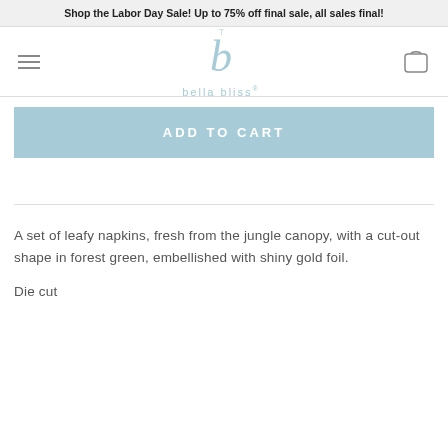Shop the Labor Day Sale! Up to 75% off final sale, all sales final!
[Figure (logo): Bella Bliss logo with stylized letter b and brand name text]
ADD TO CART
A set of leafy napkins, fresh from the jungle canopy, with a cut-out shape in forest green, embellished with shiny gold foil.
Die cut